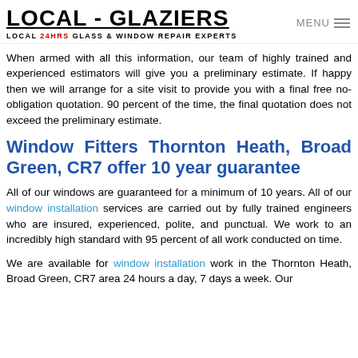LOCAL - GLAZIERS | LOCAL 24HRS GLASS & WINDOW REPAIR EXPERTS
When armed with all this information, our team of highly trained and experienced estimators will give you a preliminary estimate. If happy then we will arrange for a site visit to provide you with a final free no-obligation quotation. 90 percent of the time, the final quotation does not exceed the preliminary estimate.
Window Fitters Thornton Heath, Broad Green, CR7 offer 10 year guarantee
All of our windows are guaranteed for a minimum of 10 years. All of our window installation services are carried out by fully trained engineers who are insured, experienced, polite, and punctual. We work to an incredibly high standard with 95 percent of all work conducted on time.
We are available for window installation work in the Thornton Heath, Broad Green, CR7 area 24 hours a day, 7 days a week. Our